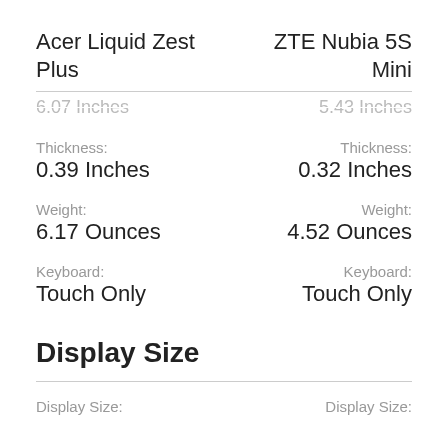Acer Liquid Zest Plus | ZTE Nubia 5S Mini
6.07 Inches | 5.43 Inches
Thickness: 0.39 Inches | Thickness: 0.32 Inches
Weight: 6.17 Ounces | Weight: 4.52 Ounces
Keyboard: Touch Only | Keyboard: Touch Only
Display Size
Display Size: | Display Size: